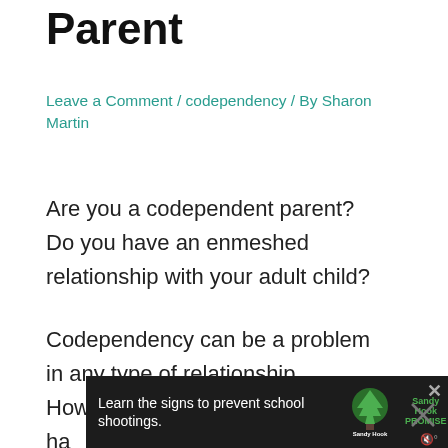Parent
Leave a Comment / codependency / By Sharon Martin
Are you a codependent parent? Do you have an enmeshed relationship with your adult child?
Codependency can be a problem in any type of relationship. However, it can be especially hard to spot in parent-child relationships.
In this article, we'll explore the concept of co…
[Figure (screenshot): Advertisement banner: Learn the signs to prevent school shootings. Sandy Hook Promise logo. Close button visible.]